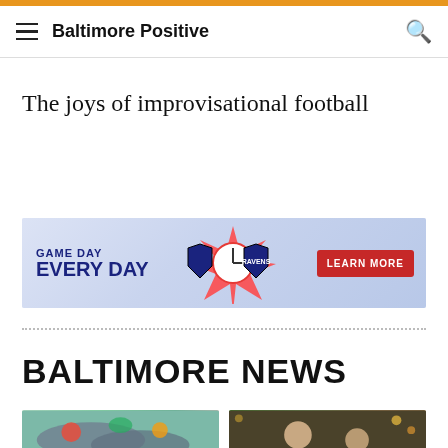Baltimore Positive
The joys of improvisational football
[Figure (infographic): Game Day Every Day Ravens advertisement banner with Learn More button]
BALTIMORE NEWS
[Figure (photo): Fish and seafood arrangement photo]
[Figure (photo): Man with glasses speaking into microphone at event]